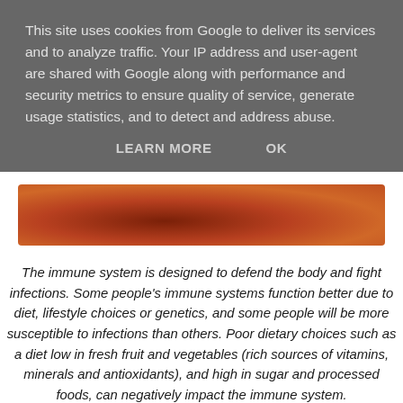This site uses cookies from Google to deliver its services and to analyze traffic. Your IP address and user-agent are shared with Google along with performance and security metrics to ensure quality of service, generate usage statistics, and to detect and address abuse.
LEARN MORE   OK
[Figure (photo): A close-up photo of a red/brown liquid in a bowl or cup on a wooden surface]
The immune system is designed to defend the body and fight infections. Some people's immune systems function better due to diet, lifestyle choices or genetics, and some people will be more susceptible to infections than others. Poor dietary choices such as a diet low in fresh fruit and vegetables (rich sources of vitamins, minerals and antioxidants), and high in sugar and processed foods, can negatively impact the immune system. A lack of exercise and a stressful lifestyle can also play a role in a lowered immune system. Keeping your immune system strong is important throughout